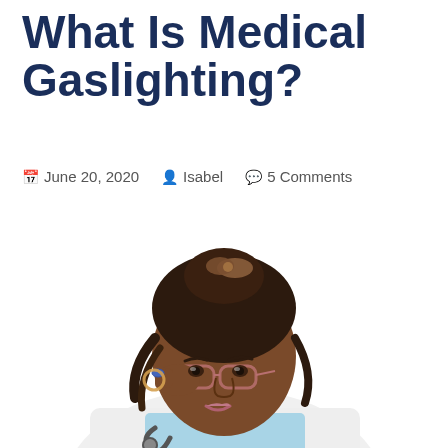What Is Medical Gaslighting?
June 20, 2020  Isabel  5 Comments
[Figure (photo): A Black female doctor in a white coat with a stethoscope, wearing glasses that she is pulling down with her hand to look over them skeptically. She has braided hair with a decorative clip. She is wearing a blue ring and looking at the camera with a skeptical expression.]